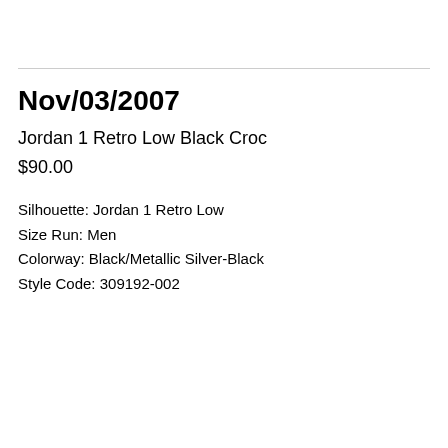Nov/03/2007
Jordan 1 Retro Low Black Croc
$90.00
Silhouette: Jordan 1 Retro Low
Size Run: Men
Colorway: Black/Metallic Silver-Black
Style Code: 309192-002